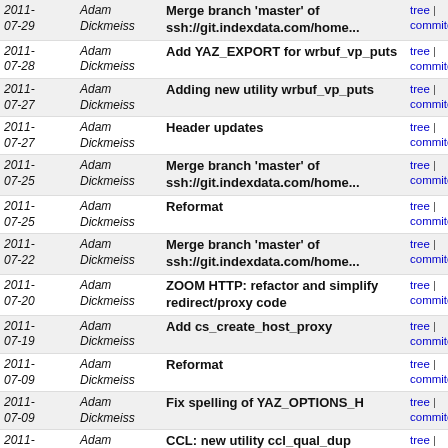| Date | Author | Commit message | Links |
| --- | --- | --- | --- |
| 2011-07-29 | Adam Dickmeiss | Merge branch 'master' of ssh://git.indexdata.com/home... | tree | commitdiff |
| 2011-07-28 | Adam Dickmeiss | Add YAZ_EXPORT for wrbuf_vp_puts | tree | commitdiff |
| 2011-07-27 | Adam Dickmeiss | Adding new utility wrbuf_vp_puts | tree | commitdiff |
| 2011-07-27 | Adam Dickmeiss | Header updates | tree | commitdiff |
| 2011-07-25 | Adam Dickmeiss | Merge branch 'master' of ssh://git.indexdata.com/home... | tree | commitdiff |
| 2011-07-25 | Adam Dickmeiss | Reformat | tree | commitdiff |
| 2011-07-22 | Adam Dickmeiss | Merge branch 'master' of ssh://git.indexdata.com/home... | tree | commitdiff |
| 2011-07-20 | Adam Dickmeiss | ZOOM HTTP: refactor and simplify redirect/proxy code | tree | commitdiff |
| 2011-07-19 | Adam Dickmeiss | Add cs_create_host_proxy | tree | commitdiff |
| 2011-07-09 | Adam Dickmeiss | Reformat | tree | commitdiff |
| 2011-07-09 | Adam Dickmeiss | Fix spelling of YAZ_OPTIONS_H | tree | commitdiff |
| 2011-06-17 | Adam Dickmeiss | CCL: new utility ccl_qual_dup | tree | commitdiff |
| 2011-06-10 | Adam Dickmeiss | Fix return values for cql_to_ccl_buf | tree | commitdiff |
| 2011- | Adam Dickmeiss | Add cql_to_ccl_buf | tree | commitdiff |